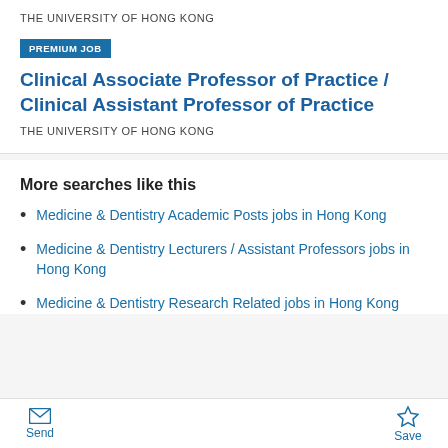THE UNIVERSITY OF HONG KONG
PREMIUM JOB
Clinical Associate Professor of Practice / Clinical Assistant Professor of Practice
THE UNIVERSITY OF HONG KONG
More searches like this
Medicine & Dentistry Academic Posts jobs in Hong Kong
Medicine & Dentistry Lecturers / Assistant Professors jobs in Hong Kong
Medicine & Dentistry Research Related jobs in Hong Kong
Send   Save